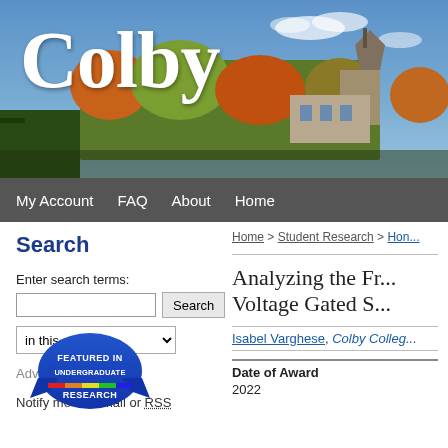[Figure (photo): Colby College campus banner photo showing autumn foliage and buildings with 'Colby' text overlay in white serif font]
My Account   FAQ   About   Home
Home > Student Research > Hon...
Search
Enter search terms:
in this series
Advanced Search
Notify me via email or RSS
[Figure (logo): Featured in Undergraduate Research badge/seal]
Analyzing the Fr... Voltage Gated S...
Isabel Varghese, Colby Colleg...
Date of Award
2022